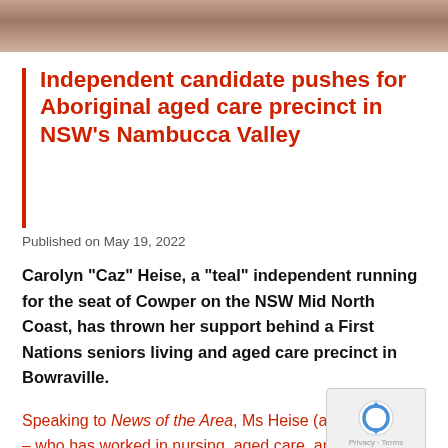[Figure (photo): Partial photograph visible at top of page showing people]
Independent candidate pushes for Aboriginal aged care precinct in NSW's Nambucca Valley
Published on May 19, 2022
Carolyn “Caz” Heise, a “teal” independent running for the seat of Cowper on the NSW Mid North Coast, has thrown her support behind a First Nations seniors living and aged care precinct in Bowraville.
Speaking to News of the Area, Ms Heise (above, centre) – who has worked in nursing, aged care, and